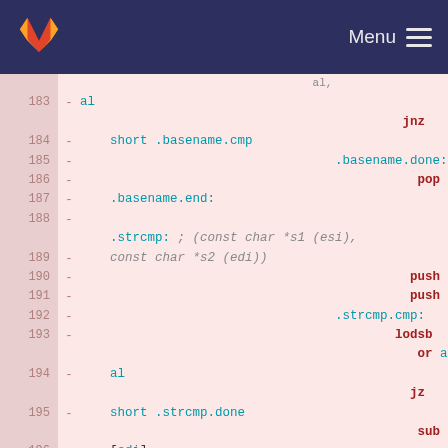[Figure (screenshot): GitLab navigation bar with logo and Menu hamburger icon on dark blue background]
Assembly code diff view showing lines 182-196 with line numbers, diff markers (-), and assembly instructions including jnz, .basename.cmp, .basename.done, pop esi, .basename.end, .strcmp, push esi, push edi, .strcmp.cmp, lodsb, or al, jz short .strcmp.done, sub al, [edi], jnz